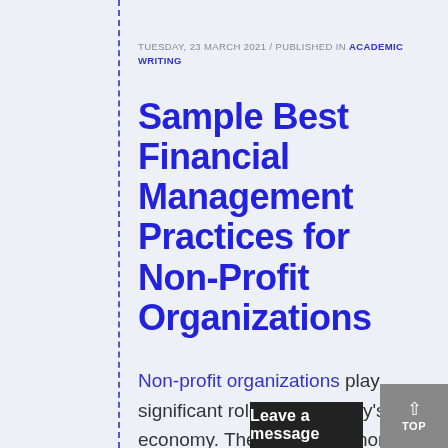TUESDAY, 23 MARCH 2021 / PUBLISHED IN ACADEMIC WRITING
Sample Best Financial Management Practices for Non-Profit Organizations
Non-profit organizations play significant roles in a country's economy. The success of non-profit